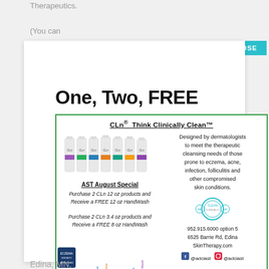Therapeutics.
(You can
unsubscribe
One, Two, FREE
[Figure (illustration): CLn product advertisement with multiple product bottles shown. Headline: CLn® Think Clinically Clean™. Left side shows product bottles, AST August Special promotion text, and product label diagram. Right side has descriptive text and contact info.]
Edina, MN,